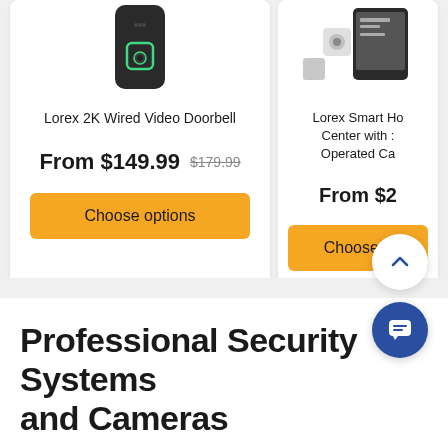[Figure (photo): Lorex 2K Wired Video Doorbell product image — black rectangular doorbell with green square camera button]
Lorex 2K Wired Video Doorbell
From $149.99  $179.99
Choose options
[Figure (photo): Lorex Smart Home Center with battery-operated cameras — white and dark smart home hub with cameras]
Lorex Smart Home Center with Battery-Operated Cameras
From $2...
Choose o...
Professional Security Systems and Cameras